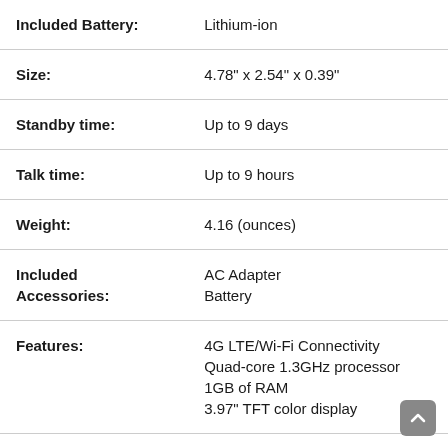| Attribute | Value |
| --- | --- |
| Included Battery: | Lithium-ion |
| Size: | 4.78" x 2.54" x 0.39" |
| Standby time: | Up to 9 days |
| Talk time: | Up to 9 hours |
| Weight: | 4.16 (ounces) |
| Included Accessories: | AC Adapter
Battery |
| Features: | 4G LTE/Wi-Fi Connectivity
Quad-core 1.3GHz processor
1GB of RAM
3.97" TFT color display |